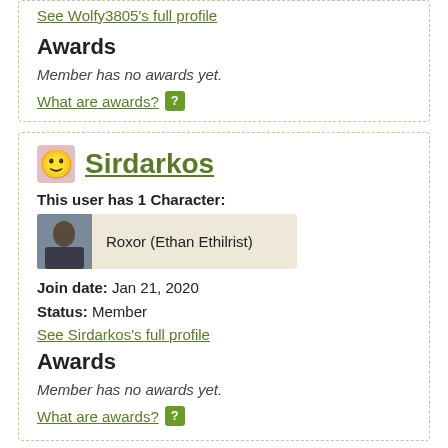See Wolfy3805's full profile
Awards
Member has no awards yet.
What are awards? [?]
Sirdarkos
This user has 1 Character:
Roxor (Ethan Ethilrist)
Join date: Jan 21, 2020
Status: Member
See Sirdarkos's full profile
Awards
Member has no awards yet.
What are awards? [?]